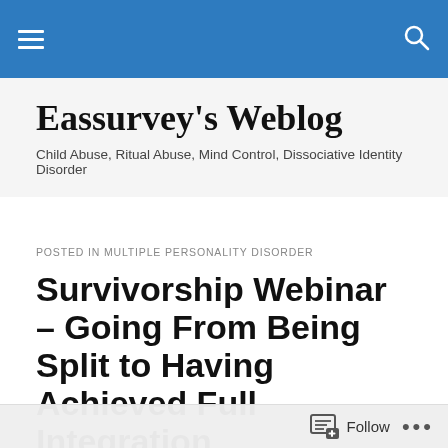Eassurvey's Weblog — navigation bar
Eassurvey's Weblog
Child Abuse, Ritual Abuse, Mind Control, Dissociative Identity Disorder
POSTED IN MULTIPLE PERSONALITY DISORDER
Survivorship Webinar – Going From Being Split to Having Achieved Full Integration
Saturday, October 5, 2013
12:00 noon Pacific Time
Follow